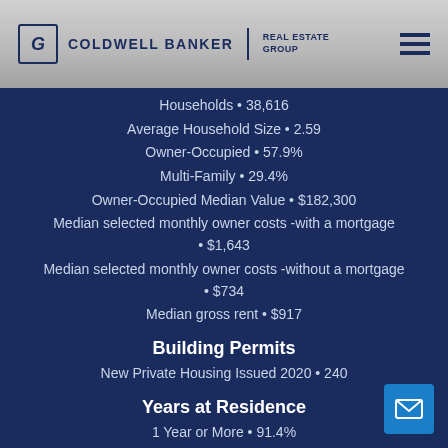COLDWELL BANKER | REAL ESTATE GROUP
Households • 38,616
Average Household Size • 2.59
Owner-Occupied • 57.9%
Multi-Family • 29.4%
Owner-Occupied Median Value • $182,300
Median selected monthly owner costs -with a mortgage • $1,643
Median selected monthly owner costs -without a mortgage • $734
Median gross rent • $917
Building Permits
New Private Housing Issued 2020 • 240
Years at Residence
1 Year or More • 91.4%